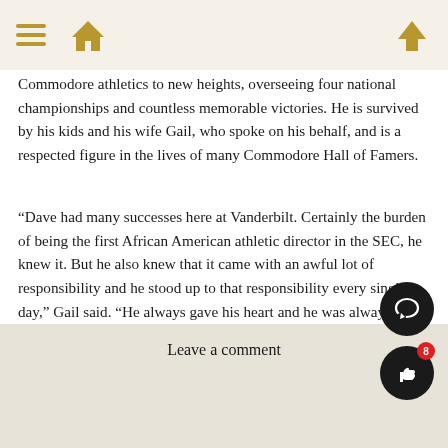[navigation icons: menu, home, up]
Commodore athletics to new heights, overseeing four national championships and countless memorable victories. He is survived by his kids and his wife Gail, who spoke on his behalf, and is a respected figure in the lives of many Commodore Hall of Famers.
“Dave had many successes here at Vanderbilt. Certainly the burden of being the first African American athletic director in the SEC, he knew it. But he also knew that it came with an awful lot of responsibility and he stood up to that responsibility every single day,” Gail said. “He always gave his heart and he was always going to do whatever it took to make certain that everyone was on the path to what was their path. And he was going to create opportunity and take away barriers, but he was going to do it with his heart, he was going to do it with integrity.”
Leave a comment